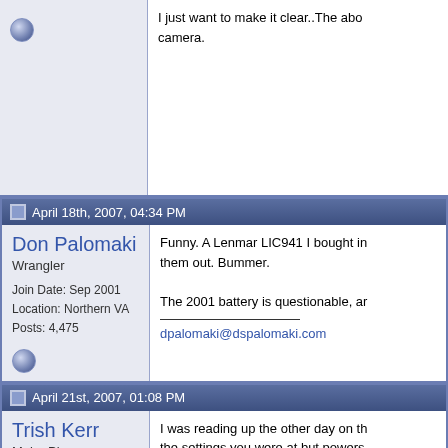I just want to make it clear..The above camera.
April 18th, 2007, 04:34 PM
Don Palomaki
Wrangler
Join Date: Sep 2001
Location: Northern VA
Posts: 4,475
Funny. A Lenmar LIC941 I bought in them out. Bummer.
The 2001 battery is questionable, an
dpalomaki@dspalomaki.com
April 21st, 2007, 01:08 PM
Trish Kerr
Major Player
Join Date: Mar 2007
Location: Canada
Posts: 294
I was reading up the other day on th the settings you were at but powers used the lever yesterday and later w
I couldn't find battery info in the man

Trish